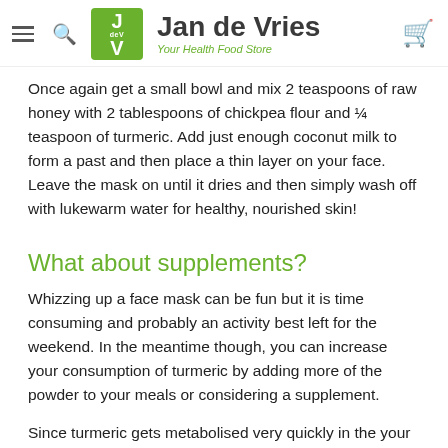Jan de Vries — Your Health Food Store
Once again get a small bowl and mix 2 teaspoons of raw honey with 2 tablespoons of chickpea flour and ¼ teaspoon of turmeric. Add just enough coconut milk to form a past and then place a thin layer on your face. Leave the mask on until it dries and then simply wash off with lukewarm water for healthy, nourished skin!
What about supplements?
Whizzing up a face mask can be fun but it is time consuming and probably an activity best left for the weekend. In the meantime though, you can increase your consumption of turmeric by adding more of the powder to your meals or considering a supplement.
Since turmeric gets metabolised very quickly in the your digestive tract, it's estimated that less than 1% of the